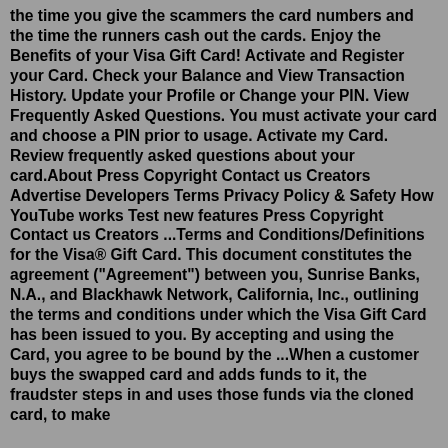the time you give the scammers the card numbers and the time the runners cash out the cards. Enjoy the Benefits of your Visa Gift Card! Activate and Register your Card. Check your Balance and View Transaction History. Update your Profile or Change your PIN. View Frequently Asked Questions. You must activate your card and choose a PIN prior to usage. Activate my Card. Review frequently asked questions about your card.About Press Copyright Contact us Creators Advertise Developers Terms Privacy Policy & Safety How YouTube works Test new features Press Copyright Contact us Creators ...Terms and Conditions/Definitions for the Visa® Gift Card. This document constitutes the agreement ("Agreement") between you, Sunrise Banks, N.A., and Blackhawk Network, California, Inc., outlining the terms and conditions under which the Visa Gift Card has been issued to you. By accepting and using the Card, you agree to be bound by the ...When a customer buys the swapped card and adds funds to it, the fraudster steps in and uses those funds via the cloned card, to make